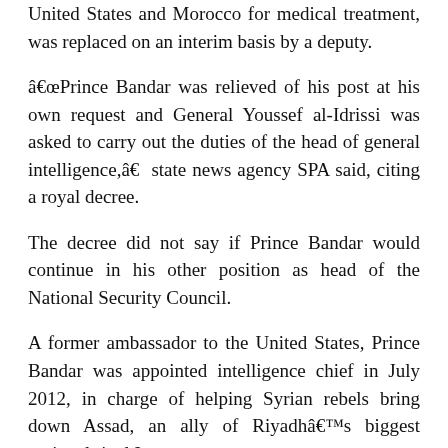United States and Morocco for medical treatment, was replaced on an interim basis by a deputy.
“Prince Bandar was relieved of his post at his own request and General Youssef al-Idrissi was asked to carry out the duties of the head of general intelligence,” state news agency SPA said, citing a royal decree.
The decree did not say if Prince Bandar would continue in his other position as head of the National Security Council.
A former ambassador to the United States, Prince Bandar was appointed intelligence chief in July 2012, in charge of helping Syrian rebels bring down Assad, an ally of Riyadh’s biggest regional rival Iran.
He was also closely involved in Saudi support for Egypt’s military and after the ousted Islamist